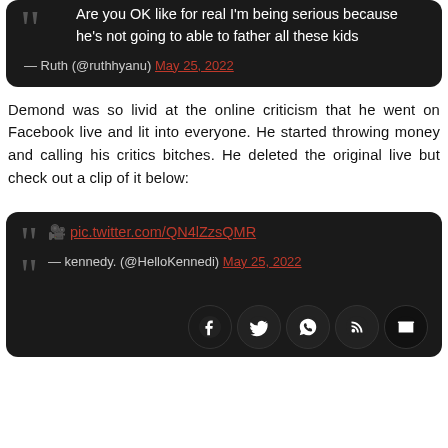Are you OK like for real I'm being serious because he's not going to able to father all these kids — Ruth (@ruthhyanu) May 25, 2022
Demond was so livid at the online criticism that he went on Facebook live and lit into everyone. He started throwing money and calling his critics bitches. He deleted the original live but check out a clip of it below:
🎥 pic.twitter.com/QN4lZzsQMR — kennedy. (@HelloKennedi) May 25, 2022
[Figure (infographic): Social sharing icons: Facebook, Twitter, WhatsApp, RSS, Email]